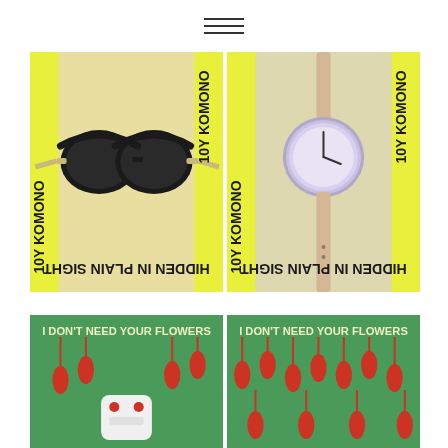[Figure (illustration): Hamburger menu icon (three horizontal lines)]
[Figure (photo): Left product photo: sunglasses on yellow/cream background with black text '10Y KOMONO' rotated vertically on left and right sides, and 'HIDDEN IN PLAIN SIGHT' text mirrored at bottom. Yellow vertical stripe on right edge.]
[Figure (photo): Right product photo: purple/lavender wristwatch on yellow/cream background with black text '10Y KOMONO' rotated vertically on left and right sides, and 'HIDDEN IN PLAIN SIGHT' text mirrored at bottom. Yellow vertical stripe on left edge.]
[Figure (illustration): Left bottom image: Green background with text 'I DON'T NEED YOUR FLOWERS' at top in white/yellow. Illustrated hanging red peppers/flowers and a white ceramic object at bottom center.]
[Figure (illustration): Right bottom image: Green background with text 'I DON'T NEED YOUR FLOWERS' at top in white/yellow. Illustrated hanging red peppers/flowers pattern.]